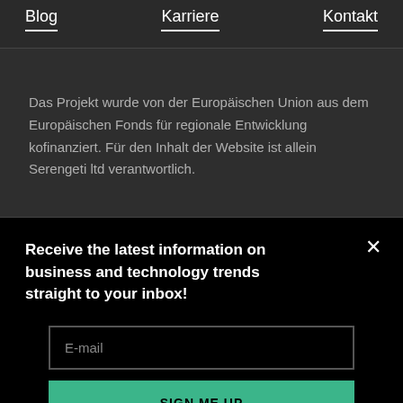Blog   Karriere   Kontakt
Das Projekt wurde von der Europäischen Union aus dem Europäischen Fonds für regionale Entwicklung kofinanziert. Für den Inhalt der Website ist allein Serengeti ltd verantwortlich.
Receive the latest information on business and technology trends straight to your inbox!
E-mail
SIGN ME UP